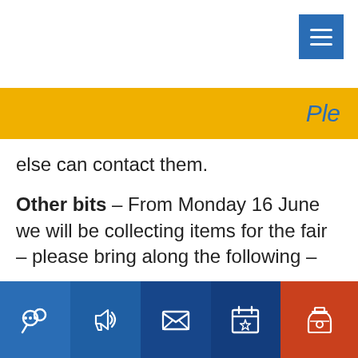Ple
else can contact them.
Other bits – From Monday 16 June we will be collecting items for the fair – please bring along the following –
Clean toys and books
Empty jam jars
Cans/Bottles for the Tombola
Luxury bits for the Hamper – such as choc…s etc.
[Figure (infographic): Bottom navigation bar with five icon buttons: chat/community (blue), megaphone/announcements (blue), envelope/mail (dark blue), calendar star/events (dark blue), jar/bottle (orange-red)]